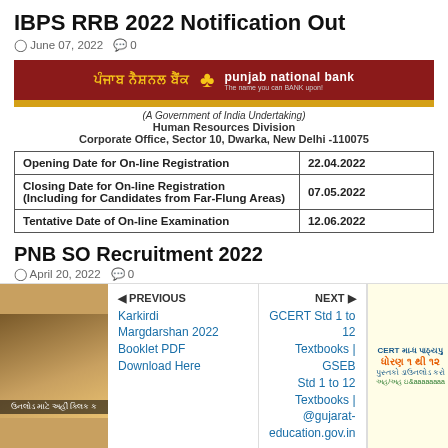IBPS RRB 2022 Notification Out
June 07, 2022   0
[Figure (logo): Punjab National Bank logo banner with Hindi and English text, gold stripe, and taglines on dark red background]
(A Government of India Undertaking)
Human Resources Division
Corporate Office, Sector 10, Dwarka, New Delhi -110075
| Opening Date for On-line Registration | 22.04.2022 |
| Closing Date for On-line Registration
(Including for Candidates from Far-Flung Areas) | 07.05.2022 |
| Tentative Date of On-line Examination | 12.06.2022 |
PNB SO Recruitment 2022
April 20, 2022   0
[Figure (illustration): Navigation thumbnail showing a person reading, with Gujarati text overlay]
PREVIOUS
Karkirdi Margdarshan 2022 Booklet PDF Download Here
NEXT
GCERT Std 1 to 12 Textbooks | GSEB Std 1 to 12 Textbooks | @gujarat-education.gov.in
[Figure (infographic): GCERT textbooks advertisement banner in Gujarati with orange and blue text]